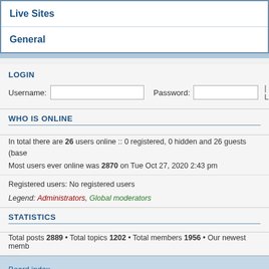Live Sites
General
LOGIN
Username:  Password:  | L
WHO IS ONLINE
In total there are 26 users online :: 0 registered, 0 hidden and 26 guests (base
Most users ever online was 2870 on Tue Oct 27, 2020 2:43 pm
Registered users: No registered users
Legend: Administrators, Global moderators
STATISTICS
Total posts 2889 • Total topics 1202 • Total members 1956 • Our newest memb
Board index
Powered by phpBB © 2000, 2
KS Serious style created by